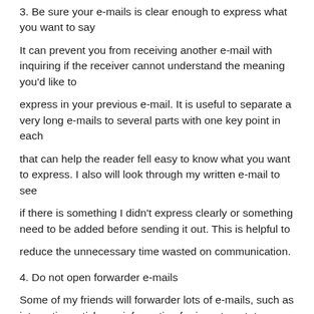3. Be sure your e-mails is clear enough to express what you want to say
It can prevent you from receiving another e-mail with inquiring if the receiver cannot understand the meaning you'd like to
express in your previous e-mail. It is useful to separate a very long e-mails to several parts with one key point in each
that can help the reader fell easy to know what you want to express. I also will look through my written e-mail to see
if there is something I didn't express clearly or something need to be added before sending it out. This is helpful to
reduce the unnecessary time wasted on communication.
4. Do not open forwarder e-mails
Some of my friends will forwarder lots of e-mails, such as interesting articles or information for investment, to me. You
can set such kind of e-mails to junk or remove them to to read list that can be read when you are free. It is not good to
keep such e-mails in inbox.